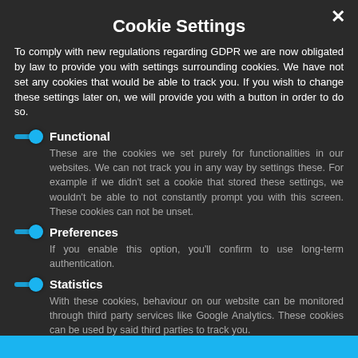Cookie Settings
To comply with new regulations regarding GDPR we are now obligated by law to provide you with settings surrounding cookies. We have not set any cookies that would be able to track you. If you wish to change these settings later on, we will provide you with a button in order to do so.
Functional
These are the cookies we set purely for functionalities in our websites. We can not track you in any way by settings these. For example if we didn't set a cookie that stored these settings, we wouldn't be able to not constantly prompt you with this screen. These cookies can not be unset.
Preferences
If you enable this option, you'll confirm to use long-term authentication.
Statistics
With these cookies, behaviour on our website can be monitored through third party services like Google Analytics. These cookies can be used by said third parties to track you.